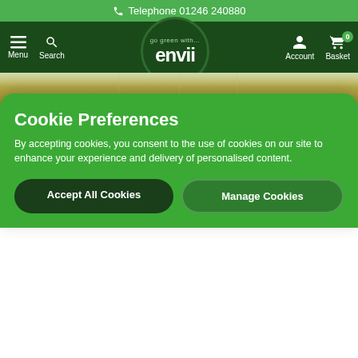Telephone 01246 240880
[Figure (screenshot): Envii website navigation bar with Menu, Search, Envii logo, Account, and Basket (0) icons on dark green background]
[Figure (photo): Close-up photo of golden-green metallic surface with vertical line details, likely a pond or water feature component]
2. Add a Pond Air Pump
Another simple way to oxygenate pond water is to add a pond air pump. Air pumps help to introduce oxygen deep
Cookie Preferences
By accepting cookies, you consent to the use of cookies on our site to enhance your experience and delivery of personalised content.
Accept All Cookies   Manage Cookies